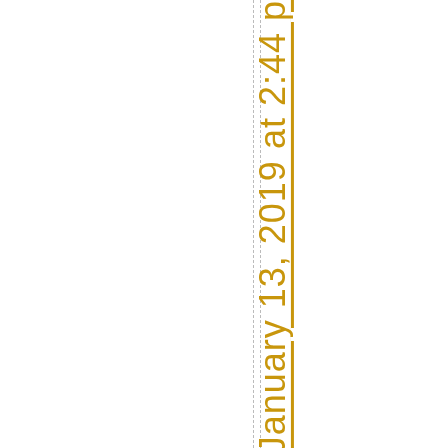dreaRossi January 13, 2019 at 2:44 p